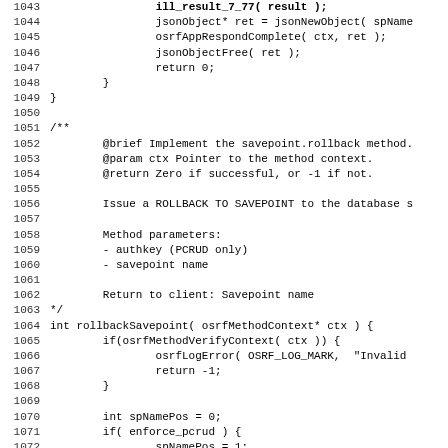Source code listing lines 1043-1075 showing C functions for JSON object handling and rollbackSavepoint implementation